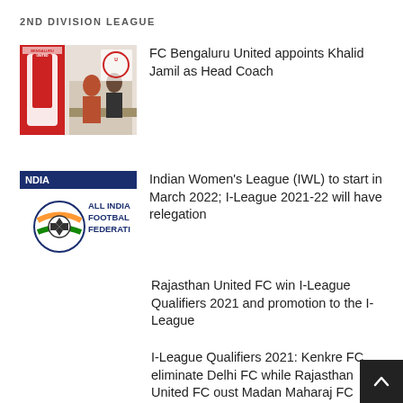2ND DIVISION LEAGUE
[Figure (photo): FC Bengaluru United branding photo with people at a table]
FC Bengaluru United appoints Khalid Jamil as Head Coach
[Figure (logo): All India Football Federation (AIFF) logo with NDIA text and football emblem]
Indian Women's League (IWL) to start in March 2022; I-League 2021-22 will have relegation
Rajasthan United FC win I-League Qualifiers 2021 and promotion to the I-League
I-League Qualifiers 2021: Kenkre FC eliminate Delhi FC while Rajasthan United FC oust Madan Maharaj FC